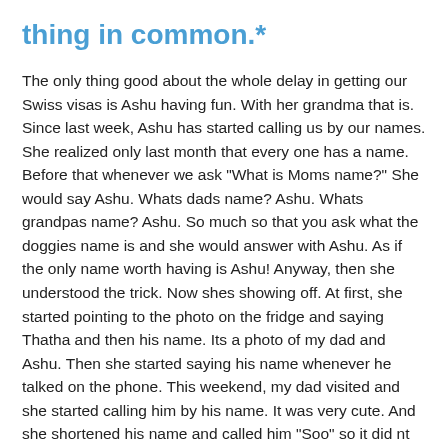thing in common.*
The only thing good about the whole delay in getting our Swiss visas is Ashu having fun. With her grandma that is. Since last week, Ashu has started calling us by our names. She realized only last month that every one has a name. Before that whenever we ask "What is Moms name?" She would say Ashu. Whats dads name? Ashu. Whats grandpas name? Ashu. So much so that you ask what the doggies name is and she would answer with Ashu. As if the only name worth having is Ashu! Anyway, then she understood the trick. Now shes showing off. At first, she started pointing to the photo on the fridge and saying Thatha and then his name. Its a photo of my dad and Ashu. Then she started saying his name whenever he talked on the phone. This weekend, my dad visited and she started calling him by his name. It was very cute. And she shortened his name and called him "Soo" so it did nt sound so offending. And I knew she was just flaunting what she has learnt. Then the day before, we were in a department store and I was paying for the goods. My dad was carrying Ashu and she called me "Amma! Amma!". I did nt respond to her as I was counting the money. So this one shouts "Oooon". I was shocked. "Oooon" is what she says when asked for my name. My name does not sound